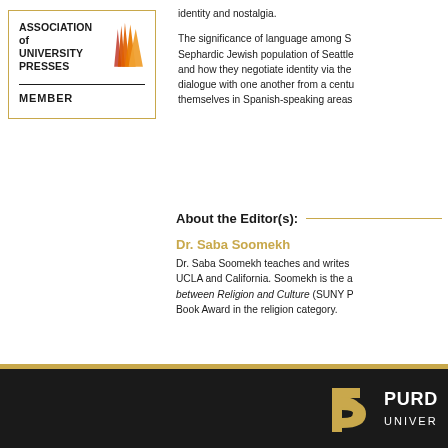[Figure (logo): Association of University Presses Member logo with orange sunburst graphic]
identity and nostalgia.
The significance of language among S... Sephardic Jewish population of Seattle... and how they negotiate identity via the... dialogue with one another from a centu... themselves in Spanish-speaking areas...
About the Editor(s):
Dr. Saba Soomekh
Dr. Saba Soomekh teaches and writes... UCLA and California. Soomekh is the a... between Religion and Culture (SUNY P... Book Award in the religion category.
[Figure (logo): Purdue University logo with stylized P and wordmark on dark footer]